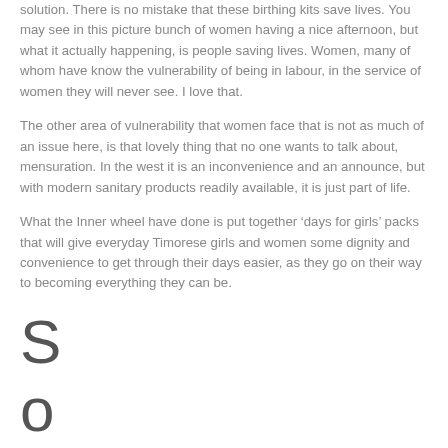solution.  There is no mistake that these birthing kits save lives.  You may see in this picture bunch of women having a nice afternoon, but what it actually happening, is people saving lives. Women, many of whom have know the vulnerability of being in labour, in the service of women they will never see. I love that.
The other area of vulnerability that women face that is not as much of an issue here, is that lovely thing that no one wants to talk about, mensuration.  In the west it is an inconvenience and an announce, but with modern sanitary products readily available, it is just part of life.
What the Inner wheel have done is put together ‘days for girls’ packs that will give everyday Timorese girls and women some dignity and convenience to get through their days easier, as they go on their way to becoming everything they can be.
S
o
l